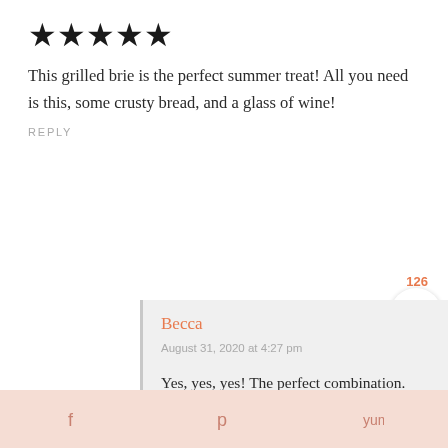[Figure (other): Five filled star icons indicating a 5-star rating]
This grilled brie is the perfect summer treat! All you need is this, some crusty bread, and a glass of wine!
REPLY
126
Becca
August 31, 2020 at 4:27 pm
Yes, yes, yes! The perfect combination. Thanks, Kat!
f  p  yummy